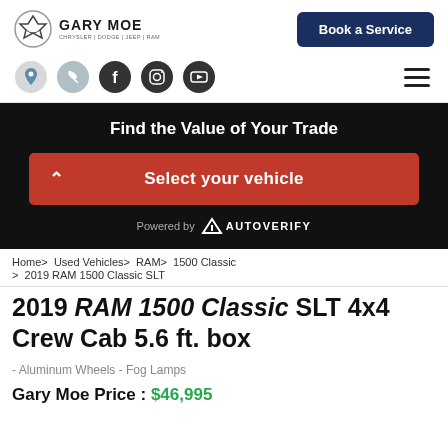Gary Moe Chrysler Dodge Jeep Ram
[Figure (logo): Gary Moe dealership logo with shield icon]
Book a Service
[Figure (infographic): Social media and contact icons row: location, phone, Facebook, Instagram, YouTube, and hamburger menu]
Find the Value of Your Trade
Select your vehicle
Powered by AUTOVERIFY
Home> Used Vehicles> RAM> 1500 Classic
> 2019 RAM 1500 Classic SLT
2019 RAM 1500 Classic SLT 4x4 Crew Cab 5.6 ft. box
- Aluminum Wheels - Fog Lamps
Gary Moe Price : $46,995